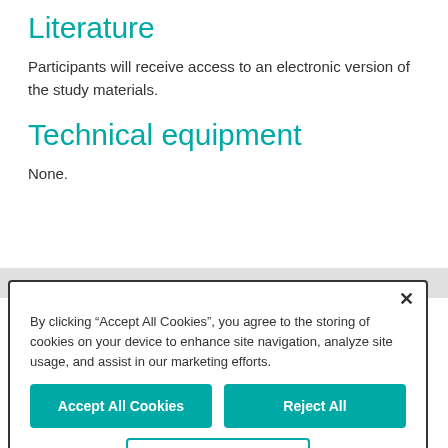Literature
Participants will receive access to an electronic version of the study materials.
Technical equipment
None.
By clicking “Accept All Cookies”, you agree to the storing of cookies on your device to enhance site navigation, analyze site usage, and assist in our marketing efforts.
Accept All Cookies
Reject All